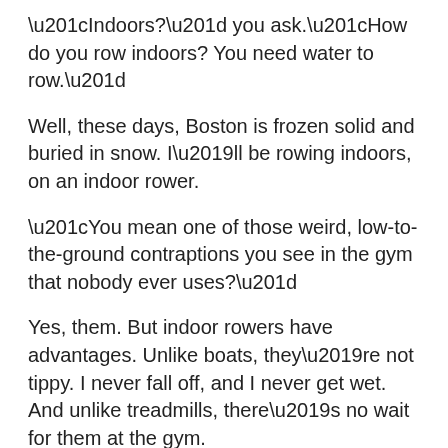“Indoors?” you ask.“How do you row indoors? You need water to row.”
Well, these days, Boston is frozen solid and buried in snow. I’ll be rowing indoors, on an indoor rower.
“You mean one of those weird, low-to-the-ground contraptions you see in the gym that nobody ever uses?”
Yes, them. But indoor rowers have advantages. Unlike boats, they’re not tippy. I never fall off, and I never get wet. And unlike treadmills, there’s no wait for them at the gym.
World class rowers will be in Boston on Sunday. I am not one of them.
Those of you who know me are supportive—and utterly flabbergasted. After all, you’ve only known me as a couch-warmer, a little overweight, a little out of shape.